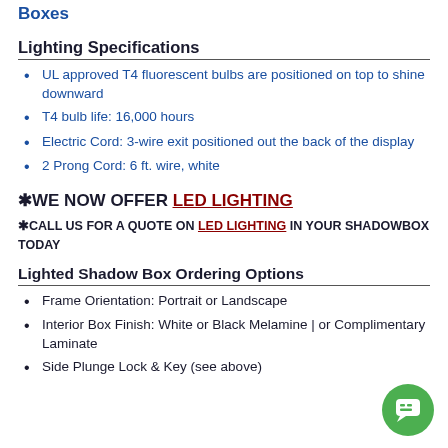Boxes
Lighting Specifications
UL approved T4 fluorescent bulbs are positioned on top to shine downward
T4 bulb life: 16,000 hours
Electric Cord: 3-wire exit positioned out the back of the display
2 Prong Cord: 6 ft. wire, white
*WE NOW OFFER LED LIGHTING
*CALL US FOR A QUOTE ON LED LIGHTING IN YOUR SHADOWBOX TODAY
Lighted Shadow Box Ordering Options
Frame Orientation: Portrait or Landscape
Interior Box Finish: White or Black Melamine | or Complimentary Laminate
Side Plunge Lock & Key (see above)